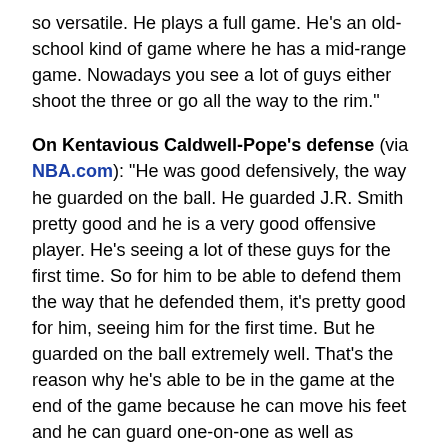so versatile. He plays a full game. He's an old-school kind of game where he has a mid-range game. Nowadays you see a lot of guys either shoot the three or go all the way to the rim."
On Kentavious Caldwell-Pope's defense (via NBA.com): "He was good defensively, the way he guarded on the ball. He guarded J.R. Smith pretty good and he is a very good offensive player. He's seeing a lot of these guys for the first time. So for him to be able to defend them the way that he defended them, it's pretty good for him, seeing him for the first time. But he guarded on the ball extremely well. That's the reason why he's able to be in the game at the end of the game because he can move his feet and he can guard one-on-one as well as anybody on our team."